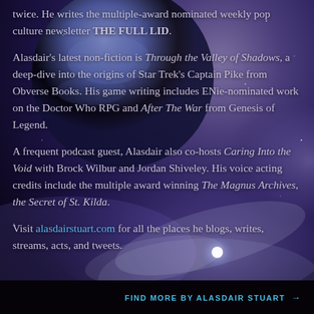[Figure (illustration): Space nebula background with a large planet visible in the upper-left area, surrounded by purple, blue, and violet cosmic clouds and stars.]
twice. He writes the multiple-award nominated weekly pop culture newsletter THE FULL LID.
Alasdair's latest non-fiction is Through the Valley of Shadows, a deep-dive into the origins of Star Trek's Captain Pike from Obverse Books. His game writing includes ENie-nominated work on the Doctor Who RPG and After The War from Genesis of Legend.
A frequent podcast guest, Alasdair also co-hosts Caring Into the Void with Brock Wilbur and Jordan Shiveley. His voice acting credits include the multiple award winning The Magnus Archives, the Secret of St. Kilda.
Visit alasdairstuart.com for all the places he blogs, writes, streams, acts, and tweets.
FIND MORE BY ALASDAIR STUART →